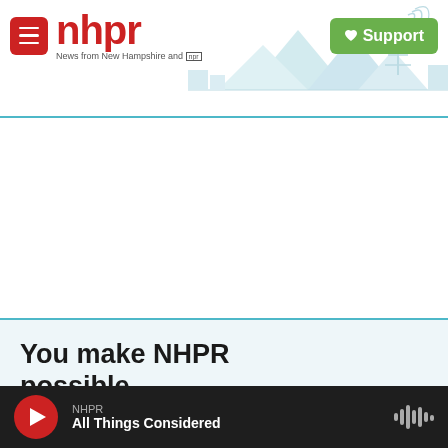nhpr — News from New Hampshire and NPR | Support
[Figure (screenshot): NHPR website header with red hamburger menu button, red nhpr logo with tagline 'News from New Hampshire and npr', light blue mountain/radio tower landscape silhouette, and green Support button with heart icon]
You make NHPR possible.
NHPR is nonprofit and independent. We rely on readers like you to support the local, national, and international coverage on this website. Your support makes this
NHPR — All Things Considered